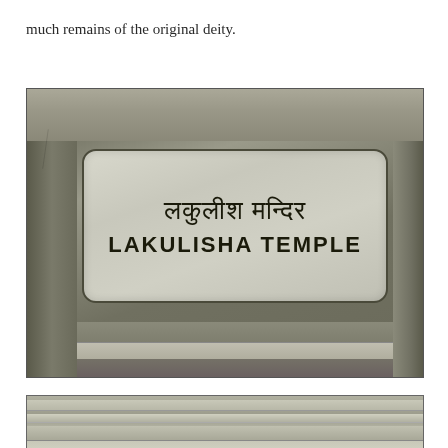much remains of the original deity.
[Figure (photo): A stone sign mounted on a rough stone wall reading 'लकुलीश मन्दिर' in Devanagari script above 'LAKULISHA TEMPLE' in Latin letters, all carved or painted on a rectangular stone plaque with rounded corners.]
[Figure (photo): Partial view of a stone structure, showing the top edge of what appears to be another temple or architectural feature, with molded stone bands visible along the top.]